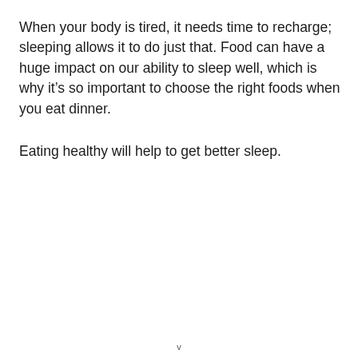When your body is tired, it needs time to recharge; sleeping allows it to do just that. Food can have a huge impact on our ability to sleep well, which is why it’s so important to choose the right foods when you eat dinner.
Eating healthy will help to get better sleep.
v